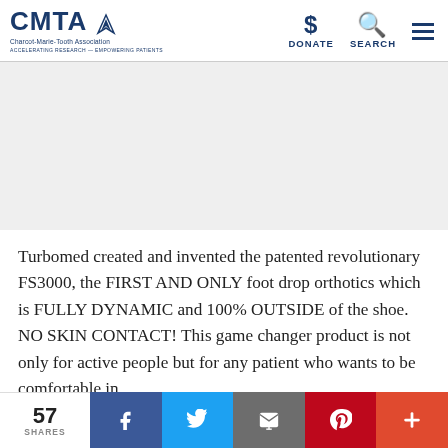CMTA Charcot-Marie-Tooth Association — DONATE SEARCH navigation
[Figure (photo): Image area placeholder (article image not visible)]
Turbomed created and invented the patented revolutionary FS3000, the FIRST AND ONLY foot drop orthotics which is FULLY DYNAMIC and 100% OUTSIDE of the shoe. NO SKIN CONTACT! This game changer product is not only for active people but for any patient who wants to be comfortable in
57 SHARES | Facebook | Twitter | Email | Pinterest | More